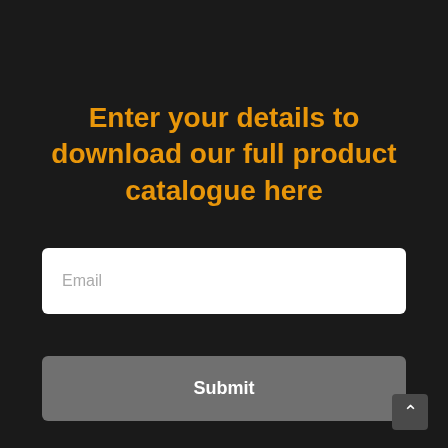Enter your details to download our full product catalogue here
Email
Submit